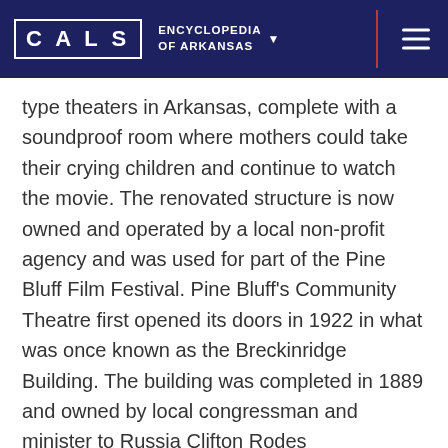CALS ENCYCLOPEDIA OF ARKANSAS
type theaters in Arkansas, complete with a soundproof room where mothers could take their crying children and continue to watch the movie. The renovated structure is now owned and operated by a local non-profit agency and was used for part of the Pine Bluff Film Festival. Pine Bluff's Community Theatre first opened its doors in 1922 in what was once known as the Breckinridge Building. The building was completed in 1889 and owned by local congressman and minister to Russia Clifton Rodes Breckinridge. Contractor William I. Hilliard built the Breckinridge Building, as well as the Jefferson County Courthouse (1890). S & H Kress & Co., a ...
Conley, Michael Alex